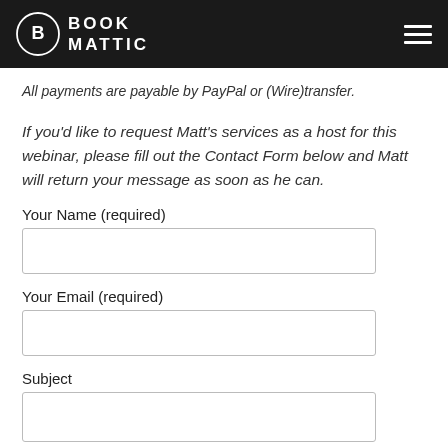BOOK MATTIC
All payments are payable by PayPal or (Wire)transfer.
If you'd like to request Matt's services as a host for this webinar, please fill out the Contact Form below and Matt will return your message as soon as he can.
Your Name (required)
Your Email (required)
Subject